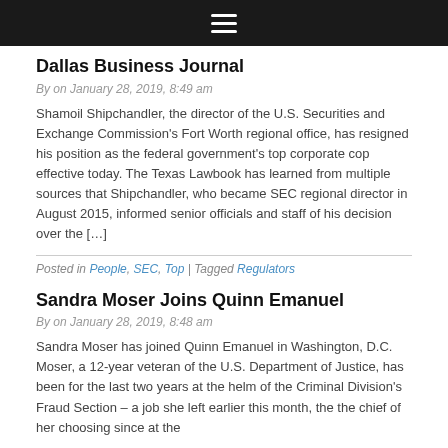≡
Dallas Business Journal
By on January 28, 2019, 8:49 am
Shamoil Shipchandler, the director of the U.S. Securities and Exchange Commission's Fort Worth regional office, has resigned his position as the federal government's top corporate cop effective today. The Texas Lawbook has learned from multiple sources that Shipchandler, who became SEC regional director in August 2015, informed senior officials and staff of his decision over the […]
Posted in People, SEC, Top | Tagged Regulators
Sandra Moser Joins Quinn Emanuel
By on January 28, 2019, 8:48 am
Sandra Moser has joined Quinn Emanuel in Washington, D.C. Moser, a 12-year veteran of the U.S. Department of Justice, has been for the last two years at the helm of the Criminal Division's Fraud Section – a job she left earlier this month, the the chief of her choosing since at the